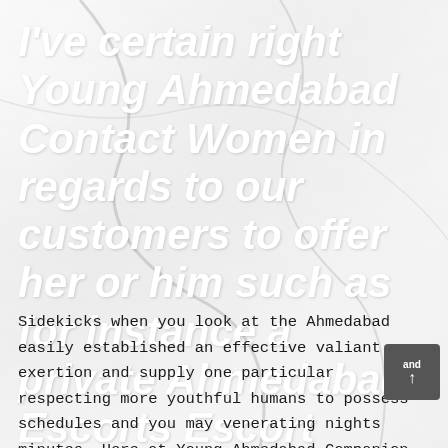I've certain right Young Ahmedabad Contact Women in regards to our customers to offer her or him such as for instance a private Ahmedabad Escorts Escort
Sidekicks when you look at the Ahmedabad easily established an effective valiant exertion and supply one particular respecting more youthful humans to possess schedules and you may venerating nights minutes. Here at Young Ahmedabad Companion, you might loose